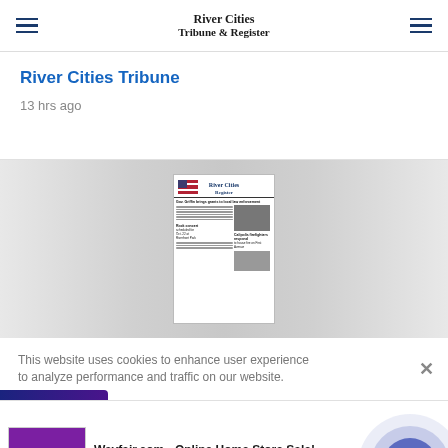River Cities Tribune & Register
River Cities Tribune
13 hrs ago
[Figure (screenshot): Thumbnail of River Cities Register newspaper front page showing headlines including 'Gov. Griffin brings grants to local law enforcement' and 'Calipolis firefighters respond to house fire on First Avenue' and 'Rock concert scheduled for Oct. 22 at Riverfront Park', displayed against a gray gradient background]
This website uses cookies to enhance user experience to analyze performance and traffic on our website.
[Figure (logo): infolinks logo bar (purple/blue gradient)]
[Figure (screenshot): Wayfair.com advertisement - Online Home Store Sale! Shop for A Zillion Things Home across all styles at Wayfair! www.wayfair.com, with purple bedroom sets thumbnail and blue arrow circle button]